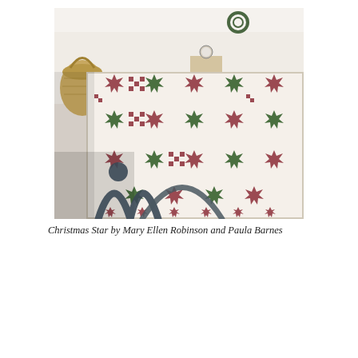[Figure (photo): A Christmas Star quilt with red and green star patterns on a cream/white background, draped over a bed with a metal iron headboard. A wicker basket and nightstand with clock are visible in the background.]
Christmas Star by Mary Ellen Robinson and Paula Barnes